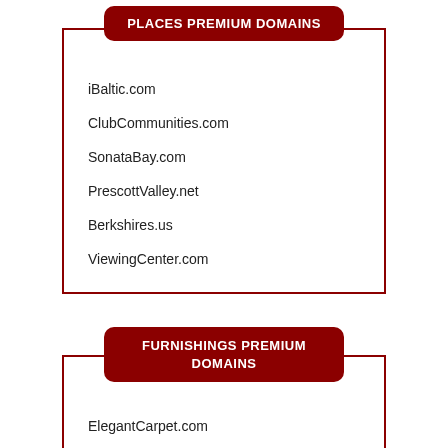PLACES PREMIUM DOMAINS
iBaltic.com
ClubCommunities.com
SonataBay.com
PrescottValley.net
Berkshires.us
ViewingCenter.com
FURNISHINGS PREMIUM DOMAINS
ElegantCarpet.com